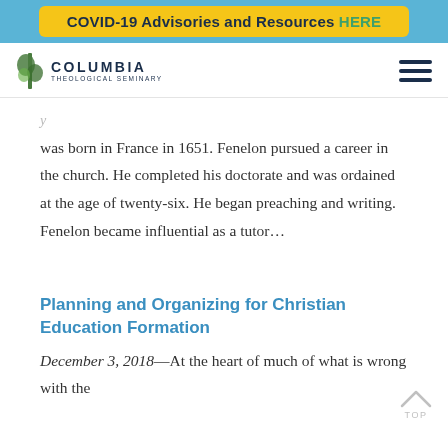COVID-19 Advisories and Resources HERE
[Figure (logo): Columbia Theological Seminary logo with stylized tree/leaf icon and text 'COLUMBIA THEOLOGICAL SEMINARY']
was born in France in 1651. Fenelon pursued a career in the church. He completed his doctorate and was ordained at the age of twenty-six. He began preaching and writing. Fenelon became influential as a tutor...
Planning and Organizing for Christian Education Formation
December 3, 2018—At the heart of much of what is wrong with the